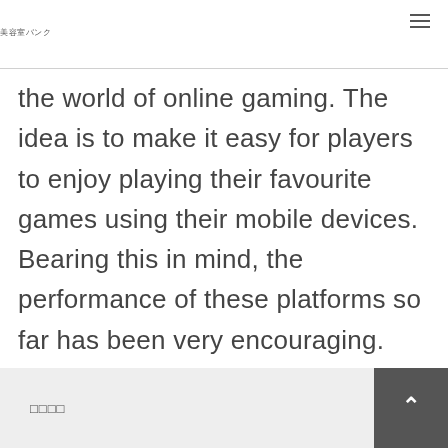美容室バンク
the world of online gaming. The idea is to make it easy for players to enjoy playing their favourite games using their mobile devices. Bearing this in mind, the performance of these platforms so far has been very encouraging. However, some are still struggling to provide players with the same experience as is obtainable when using their PC.
□□□□